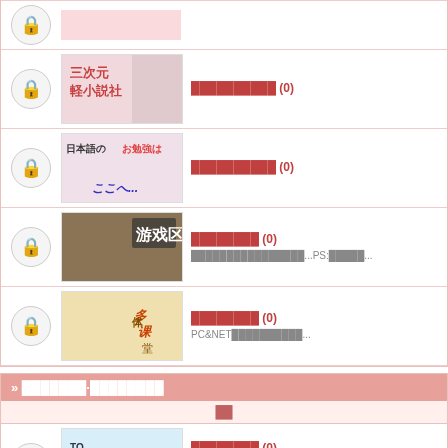██████████ (0)
██████████ (0)
████████ (0) ████████████████...PS:█████...
████████ (0) PC&NET██████████...
» ███████·████████
██
████████ (0) ████████████████████ ██[ss-square]
█MAD████ (0) ████ █████ █████ ████
████ REC ROOM█ (0) █████████████████————████████████ ████████████